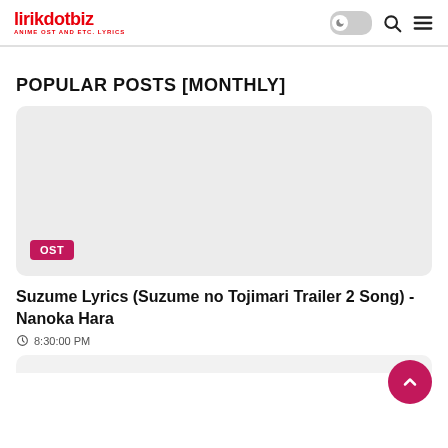lirikdotbiz — ANIME OST AND ETC. LYRICS
POPULAR POSTS [MONTHLY]
[Figure (other): Post thumbnail image area with OST badge label in magenta/pink color]
Suzume Lyrics (Suzume no Tojimari Trailer 2 Song) - Nanoka Hara
8:30:00 PM